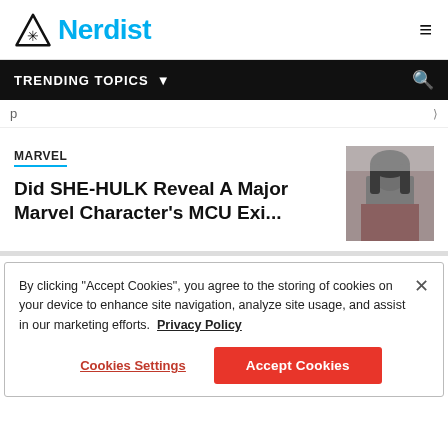Nerdist
TRENDING TOPICS
MARVEL
Did SHE-HULK Reveal A Major Marvel Character’s MCU Exi…
[Figure (photo): She-Hulk character thumbnail photo]
By clicking “Accept Cookies”, you agree to the storing of cookies on your device to enhance site navigation, analyze site usage, and assist in our marketing efforts. Privacy Policy
Cookies Settings
Accept Cookies